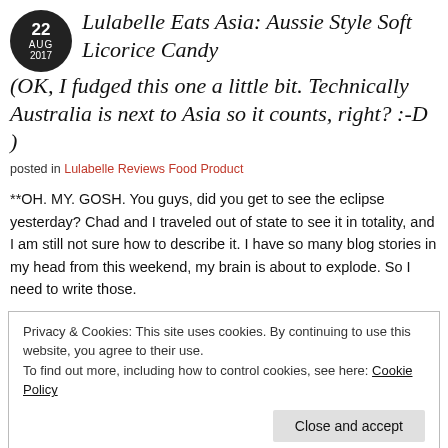Lulabelle Eats Asia: Aussie Style Soft Licorice Candy (OK, I fudged this one a little bit. Technically Australia is next to Asia so it counts, right? :-D )
posted in Lulabelle Reviews Food Product
**OH. MY. GOSH. You guys, did you get to see the eclipse yesterday? Chad and I traveled out of state to see it in totality, and I am still not sure how to describe it. I have so many blog stories in my head from this weekend, my brain is about to explode. So I need to write those.
Privacy & Cookies: This site uses cookies. By continuing to use this website, you agree to their use.
To find out more, including how to control cookies, see here: Cookie Policy
with Emma Watson, not the original 90's version 😘 )